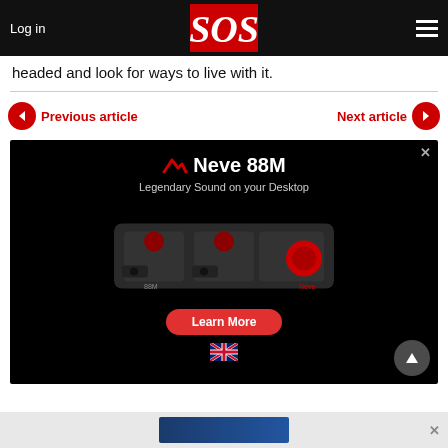Log in | SOS | ☰
headed and look for ways to live with it.
Previous article | Next article
[Figure (photo): Advertisement for Neve 88M audio interface. Shows the device with text 'Neve 88M', 'Legendary Sound on your Desktop', a 'Learn More' button, and a UK flag icon.]
[Figure (other): Bottom advertisement banner with blue gradient background and close button.]